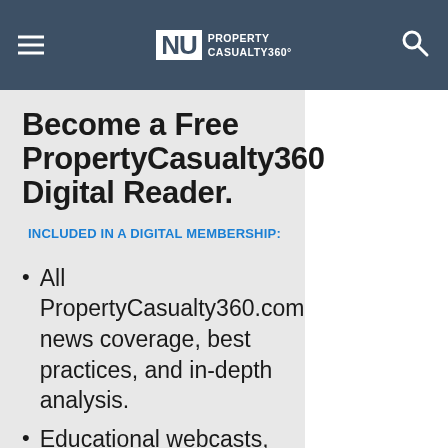NU PROPERTY CASUALTY360°
Become a Free PropertyCasualty360 Digital Reader.
INCLUDED IN A DIGITAL MEMBERSHIP:
All PropertyCasualty360.com news coverage, best practices, and in-depth analysis.
Educational webcasts,